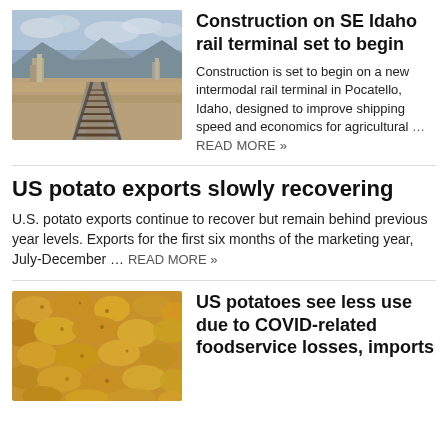[Figure (photo): Aerial/ground-level view of railroad tracks in a wide open landscape with mountains and clouds in background, industrial structures visible.]
Construction on SE Idaho rail terminal set to begin
Construction is set to begin on a new intermodal rail terminal in Pocatello, Idaho, designed to improve shipping speed and economics for agricultural ... READ MORE »
US potato exports slowly recovering
U.S. potato exports continue to recover but remain behind previous year levels. Exports for the first six months of the marketing year, July-December ... READ MORE »
[Figure (photo): Close-up photo of many yellow/gold potatoes piled together.]
US potatoes see less use due to COVID-related foodservice losses, imports